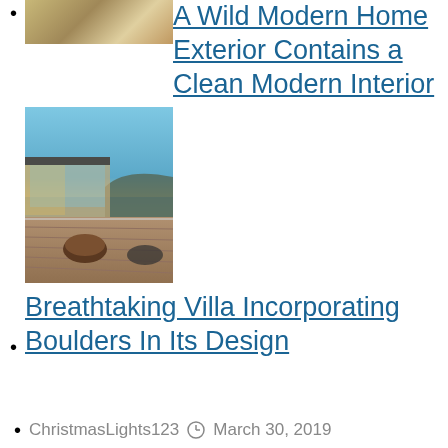A Wild Modern Home Exterior Contains a Clean Modern Interior
[Figure (photo): Modern villa on cliff overlooking ocean at dusk, with deck and large windows]
Breathtaking Villa Incorporating Boulders In Its Design
ChristmasLights123   March 30, 2019